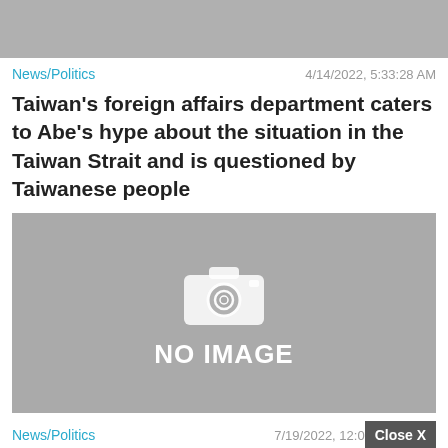[Figure (photo): Gray placeholder image at top of page]
News/Politics   4/14/2022, 5:33:28 AM
Taiwan's foreign affairs department caters to Abe's hype about the situation in the Taiwan Strait and is questioned by Taiwanese people
[Figure (photo): No image placeholder with camera icon and text 'NO IMAGE']
News/Politics   7/19/2022, 12:08   Close X
The Taiwan Affairs Office of the State Council responded that Pelosi may visit